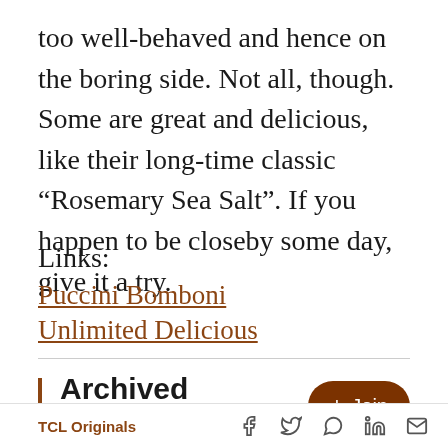too well-behaved and hence on the boring side. Not all, though. Some are great and delicious, like their long-time classic “Rosemary Sea Salt”. If you happen to be closeby some day, give it a try.
Links:
Puccini Bomboni
Unlimited Delicious
Archived Comments
TCL Originals